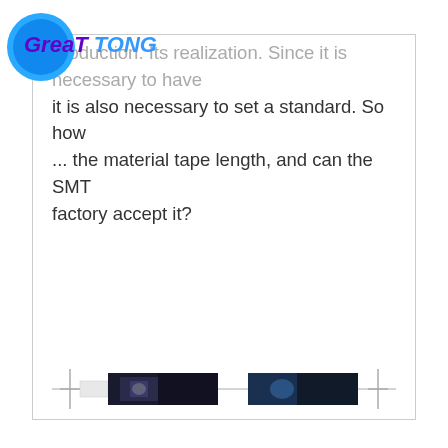[Figure (logo): GreatTong company logo with blue circle and stylized italic text]
production. Its realization. Since it is necessary to have ... it is also necessary to set a standard. So how ... the material tape length, and can the SMT factory accept it?
[Figure (photo): Two SMT component tape segments shown side by side on a horizontal line with crosshair markers at the ends. Left segment shows a dark tape with a small SMD component visible. Right segment shows a similar dark tape section.]